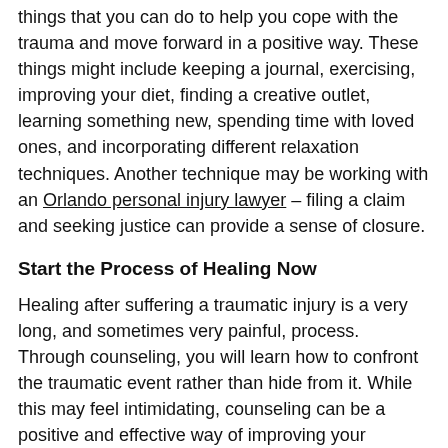things that you can do to help you cope with the trauma and move forward in a positive way. These things might include keeping a journal, exercising, improving your diet, finding a creative outlet, learning something new, spending time with loved ones, and incorporating different relaxation techniques. Another technique may be working with an Orlando personal injury lawyer – filing a claim and seeking justice can provide a sense of closure.
Start the Process of Healing Now
Healing after suffering a traumatic injury is a very long, and sometimes very painful, process. Through counseling, you will learn how to confront the traumatic event rather than hide from it. While this may feel intimidating, counseling can be a positive and effective way of improving your psychological state and improving your physical healing.
If you want to learn more about counseling after an injury and connect with a medical professional,